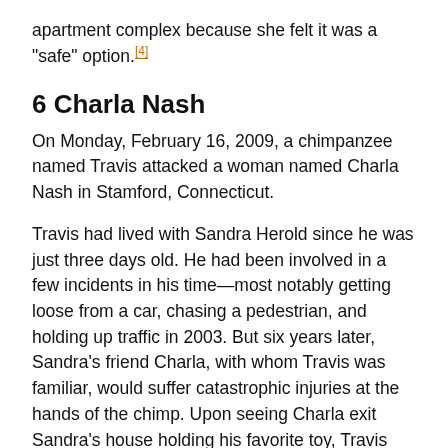Ironically, Mercy had chosen to live in this particular apartment complex because she felt it was a "safe" option.[4]
6 Charla Nash
On Monday, February 16, 2009, a chimpanzee named Travis attacked a woman named Charla Nash in Stamford, Connecticut.
Travis had lived with Sandra Herold since he was just three days old. He had been involved in a few incidents in his time—most notably getting loose from a car, chasing a pedestrian, and holding up traffic in 2003. But six years later, Sandra's friend Charla, with whom Travis was familiar, would suffer catastrophic injuries at the hands of the chimp. Upon seeing Charla exit Sandra's house holding his favorite toy, Travis became angry and launched a devastating attack.
Sandra Sandberg…